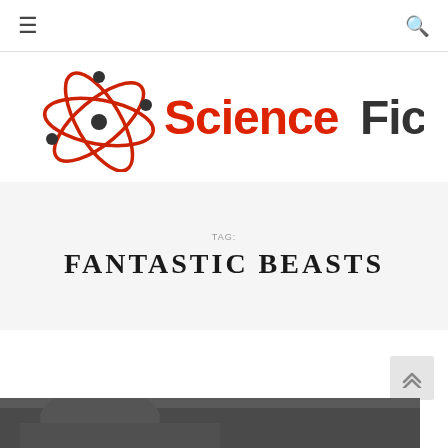Navigation bar with hamburger menu and search icon
[Figure (logo): ScienceFiction.com logo with atom graphic and styled text]
TAG: FANTASTIC BEASTS
[Figure (photo): Partial article thumbnail photo at bottom of page]